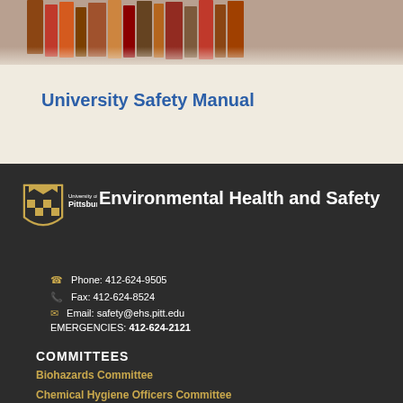[Figure (photo): Books on a shelf, warm tone photograph at top of page]
University Safety Manual
[Figure (logo): University of Pittsburgh shield logo with Environmental Health and Safety text]
Phone: 412-624-9505
Fax: 412-624-8524
Email: safety@ehs.pitt.edu
EMERGENCIES: 412-624-2121
COMMITTEES
Biohazards Committee
Chemical Hygiene Officers Committee